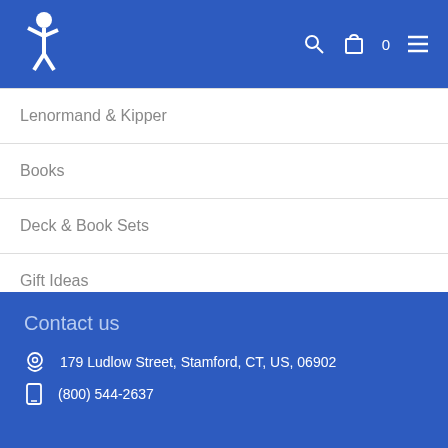Navigation header with logo and icons
Lenormand & Kipper
Books
Deck & Book Sets
Gift Ideas
Novelties
Contact us
179 Ludlow Street, Stamford, CT, US, 06902
(800) 544-2637